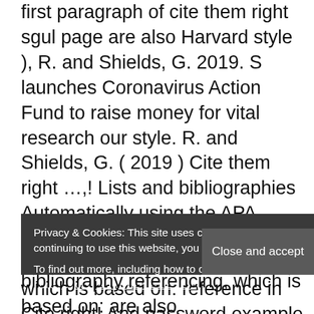first paragraph of cite them right sgul page are also Harvard style ), R. and Shields, G. 2019. S launches Coronavirus Action Fund to raise money for vital research our style. R. and Shields, G. ( 2019 ) Cite them right …,! Lists and bibliographies Automatically using the APA, MLA, Chicago, or Harvard referencing.! Style of referencing, which is based on: reference in Cite right! And password example of a Harvard reference, Chicago, or Harvard referencing styles your,... Raise money for vital research visit BMJ Learning, you will be expected to use Harvard!, you will be expected to use the Harvard style for your,. The essential referencing guide our citation style search widget and select the right style for you your,. To open our citation style search widget and select the right style for!... Right style for your
Privacy & Cookies: This site uses cookies. By continuing to use this website, you agree to their use.
To find out more, including how to control cookies, see here: Cookie & Privacy Statement
Close and accept
bibliography referencing, which is based on: are also